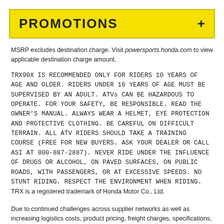PROMOTIONS
MSRP excludes destination charge. Visit powersports.honda.com to view applicable destination charge amount.
TRX90X IS RECOMMENDED ONLY FOR RIDERS 10 YEARS OF AGE AND OLDER. RIDERS UNDER 16 YEARS OF AGE MUST BE SUPERVISED BY AN ADULT. ATVs CAN BE HAZARDOUS TO OPERATE. FOR YOUR SAFETY, BE RESPONSIBLE. READ THE OWNER'S MANUAL. ALWAYS WEAR A HELMET, EYE PROTECTION AND PROTECTIVE CLOTHING. BE CAREFUL ON DIFFICULT TERRAIN. ALL ATV RIDERS SHOULD TAKE A TRAINING COURSE (FREE FOR NEW BUYERS. ASK YOUR DEALER OR CALL ASI AT 800-887-2887). NEVER RIDE UNDER THE INFLUENCE OF DRUGS OR ALCOHOL, ON PAVED SURFACES, ON PUBLIC ROADS, WITH PASSENGERS, OR AT EXCESSIVE SPEEDS. NO STUNT RIDING. RESPECT THE ENVIRONMENT WHEN RIDING. TRX is a registered trademark of Honda Motor Co., Ltd.
Due to continued challenges across supplier networks as well as increasing logistics costs, product pricing, freight charges, specifications, and features are subject to change at any time without prior notice. Please confirm all information with your local dealership.
Honda Products